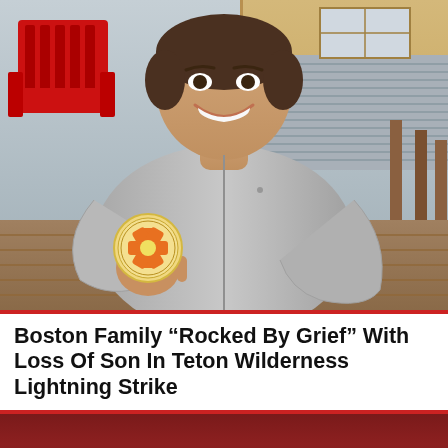[Figure (photo): A smiling young man in a gray long-sleeve athletic hoodie holds up a round coin/medallion featuring an orange Star of Life medical symbol. He is seated outdoors with a red Adirondack chair, a tan/yellow building with metal corrugated siding, and wooden fence posts visible behind him.]
Boston Family “Rocked By Grief” With Loss Of Son In Teton Wilderness Lightning Strike